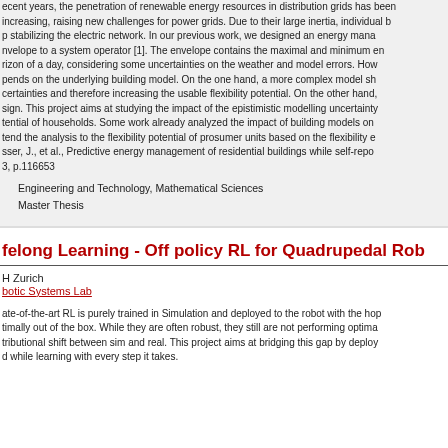recent years, the penetration of renewable energy resources in distribution grids has been increasing, raising new challenges for power grids. Due to their large inertia, individual buildings help stabilizing the electric network. In our previous work, we designed an energy management envelope to a system operator [1]. The envelope contains the maximal and minimum energy over a horizon of a day, considering some uncertainties on the weather and model errors. However, it depends on the underlying building model. On the one hand, a more complex model should reduce uncertainties and therefore increasing the usable flexibility potential. On the other hand, it is harder to design. This project aims at studying the impact of the epistimistic modelling uncertainty on the flexibility potential of households. Some work already analyzed the impact of building models on the energy, we extend the analysis to the flexibility potential of prosumer units based on the flexibility envelope. sser, J., et al., Predictive energy management of residential buildings while self-reporting... 3, p.116653
Engineering and Technology, Mathematical Sciences
Master Thesis
felong Learning - Off policy RL for Quadrupedal Rob...
H Zurich
botic Systems Lab
ate-of-the-art RL is purely trained in Simulation and deployed to the robot with the hope of performing optimally out of the box. While they are often robust, they still are not performing optimally due to distributional shift between sim and real. This project aims at bridging this gap by deploying the robot and while learning with every step it takes.